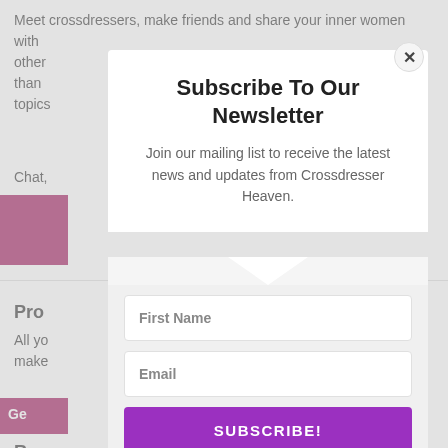Meet crossdressers, make friends and share your inner women with other... than... ing topics...
Chat,
Pro...
All yo... nal make...
Rec...
Subscribe To Our Newsletter
Join our mailing list to receive the latest news and updates from Crossdresser Heaven.
First Name
Email
SUBSCRIBE!
We hate spam too, unsubscribe at any time.